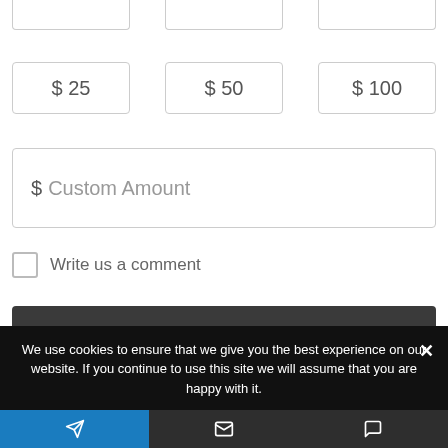[Figure (screenshot): Donation form UI showing preset amount buttons ($25, $50, $100), a custom amount input field, a comment checkbox, and a Next button]
$ 25
$ 50
$ 100
$ Custom Amount
Write us a comment
Next →
Powered by Donorbox
We use cookies to ensure that we give you the best experience on our website. If you continue to use this site we will assume that you are happy with it.